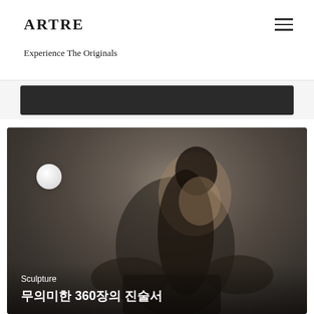ARTRE
Experience The Originals
[Figure (screenshot): Dark banner/header image strip at top of content area]
[Figure (photo): Photo of a young Asian woman with long dark hair and decorative headpiece, wearing dark clothing, looking downward. A white orb/circle is visible in the upper left of the image. Overlay text reads 'Sculpture' and '무의미한 360장의 진술서']